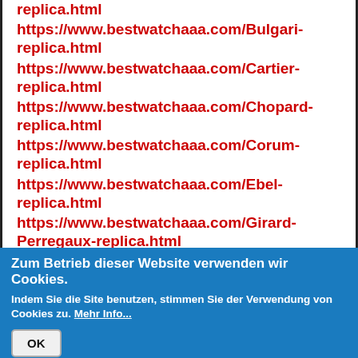replica.html
https://www.bestwatchaaa.com/Bulgari-replica.html
https://www.bestwatchaaa.com/Cartier-replica.html
https://www.bestwatchaaa.com/Chopard-replica.html
https://www.bestwatchaaa.com/Corum-replica.html
https://www.bestwatchaaa.com/Ebel-replica.html
https://www.bestwatchaaa.com/Girard-Perregaux-replica.html
Zum Betrieb dieser Website verwenden wir Cookies.
Indem Sie die Site benutzen, stimmen Sie der Verwendung von Cookies zu. Mehr Info...
OK